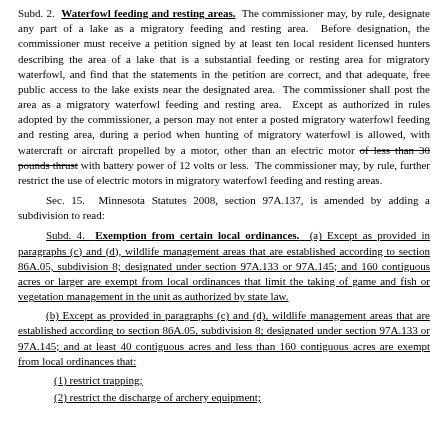Subd. 2. Waterfowl feeding and resting areas. The commissioner may, by rule, designate any part of a lake as a migratory feeding and resting area. Before designation, the commissioner must receive a petition signed by at least ten local resident licensed hunters describing the area of a lake that is a substantial feeding or resting area for migratory waterfowl, and find that the statements in the petition are correct, and that adequate, free public access to the lake exists near the designated area. The commissioner shall post the area as a migratory waterfowl feeding and resting area. Except as authorized in rules adopted by the commissioner, a person may not enter a posted migratory waterfowl feeding and resting area, during a period when hunting of migratory waterfowl is allowed, with watercraft or aircraft propelled by a motor, other than an electric motor of less than 30 pounds thrust with battery power of 12 volts or less. The commissioner may, by rule, further restrict the use of electric motors in migratory waterfowl feeding and resting areas.
Sec. 15. Minnesota Statutes 2008, section 97A.137, is amended by adding a subdivision to read:
Subd. 4. Exemption from certain local ordinances. (a) Except as provided in paragraphs (c) and (d), wildlife management areas that are established according to section 86A.05, subdivision 8; designated under section 97A.133 or 97A.145; and 160 contiguous acres or larger are exempt from local ordinances that limit the taking of game and fish or vegetation management in the unit as authorized by state law.
(b) Except as provided in paragraphs (c) and (d), wildlife management areas that are established according to section 86A.05, subdivision 8; designated under section 97A.133 or 97A.145; and at least 40 contiguous acres and less than 160 contiguous acres are exempt from local ordinances that:
(1) restrict trapping;
(2) restrict the discharge of archery equipment;